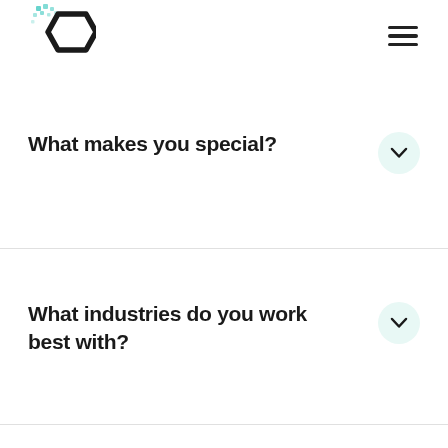[Figure (logo): Hexagonal logo with teal/mint colored dot pattern fragments and a bold black hexagon outline shape]
[Figure (other): Hamburger menu icon — three horizontal black lines stacked vertically]
What makes you special?
What industries do you work best with?